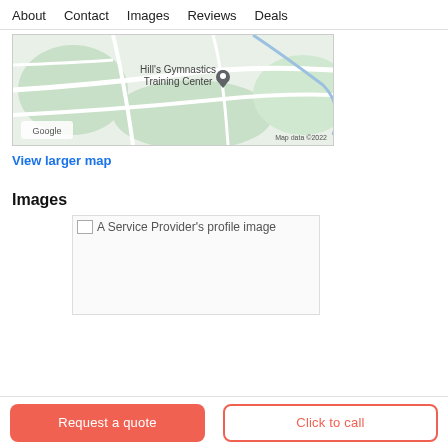About   Contact   Images   Reviews   Deals
[Figure (map): Google Maps showing location of Hill's Gymnastics Training Center with a pin marker. Map data ©2022 shown in lower right. Google logo in lower left.]
View larger map
Images
[Figure (photo): A Service Provider's profile image — broken/unloaded image placeholder]
Request a quote
Click to call